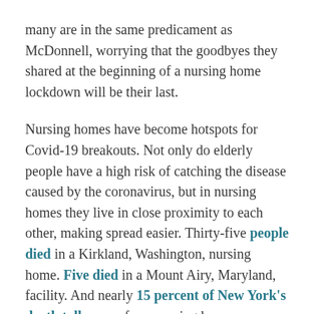many are in the same predicament as McDonnell, worrying that the goodbyes they shared at the beginning of a nursing home lockdown will be their last.
Nursing homes have become hotspots for Covid-19 breakouts. Not only do elderly people have a high risk of catching the disease caused by the coronavirus, but in nursing homes they live in close proximity to each other, making spread easier. Thirty-five people died in a Kirkland, Washington, nursing home. Five died in a Mount Airy, Maryland, facility. And nearly 15 percent of New York's death toll comes from nursing home residents. As a result, many nursing homes have been closing their doors to visitors indefinitely. If families are lucky, they get to say their final goodbyes in person. If not, they